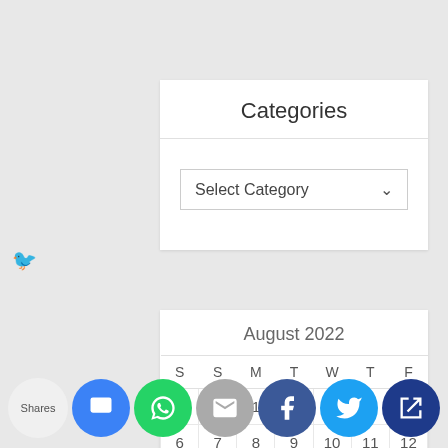Categories
Select Category
| S | S | M | T | W | T | F |
| --- | --- | --- | --- | --- | --- | --- |
|  |  | 1 | 2 | 3 | 4 | 5 |
| 6 | 7 | 8 | 9 | 10 | 11 | 12 |
| 13 | 14 | 15 | 16 | 17 | 18 | 19 |
| 20 | 21 | 22 | 23 | 24 | 25 | 26 |
Shares